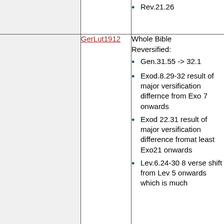|  |  | Rev.21.26 |
| GerLut1912 | Whole Bible
Reversified:
• Gen.31.55 -> 32.1
• Exod.8.29-32 result of major versification differnce from Exo 7 onwards
• Exod 22.31 result of major versification difference fromat least Exo21 onwards
• Lev.6.24-30 8 verse shift from Lev 5 onwards which is much |  |